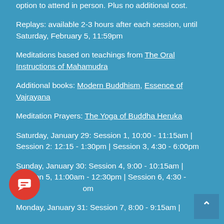option to attend in person. Plus no additional cost.
Replays: available 2-3 hours after each session, until Saturday, February 5, 11:59pm
Meditations based on teachings from The Oral Instructions of Mahamudra
Additional books: Modern Buddhism, Essence of Vajrayana
Meditation Prayers: The Yoga of Buddha Heruka
Saturday, January 29: Session 1, 10:00 - 11:15am | Session 2: 12:15 - 1:30pm | Session 3, 4:30 - 6:00pm
Sunday, January 30: Session 4, 9:00 - 10:15am | Session 5, 11:00am - 12:30pm | Session 6, 4:30 - [6:00pm]
Monday, January 31: Session 7, 8:00 - 9:15am |